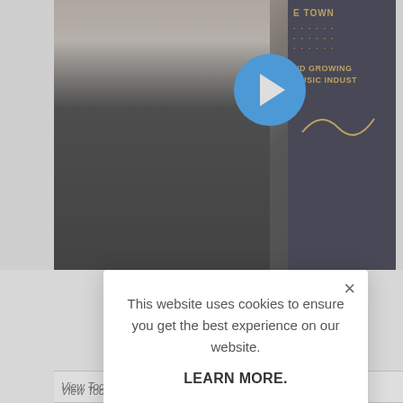[Figure (screenshot): Website screenshot showing a video player with a person in a black shirt, a play button overlay, and a right panel with text about music industry. Below the video is a timestamp '4:3' and a heart icon.]
This website uses cookies to ensure you get the best experience on our website.
LEARN MORE.
ACCEPT COOKIES
One can rapp
View Today's Top Beats: